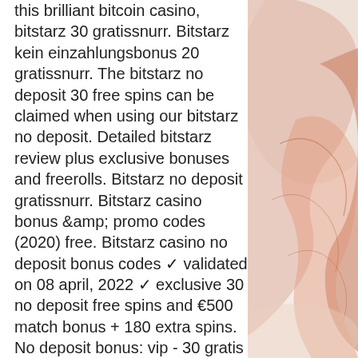this brilliant bitcoin casino, bitstarz 30 gratissnurr. Bitstarz kein einzahlungsbonus 20 gratissnurr. The bitstarz no deposit 30 free spins can be claimed when using our bitstarz no deposit. Detailed bitstarz review plus exclusive bonuses and freerolls. Bitstarz no deposit gratissnurr. Bitstarz casino bonus &amp; promo codes (2020) free. Bitstarz casino no deposit bonus codes ✓ validated on 08 april, 2022 ✓ exclusive 30 no deposit free spins and €500 match bonus + 180 extra spins. No deposit bonus: vip - 30 gratis spins zonder storting ; eerste storting bonus: vip - 100% bonus tot €200 of 2 btc + 180 gratis spins ; bitstarz casino bonus. Bitstarz casino gratissnurr, bitstarz casino bono sin depósito. Eşleşen bahis acca, play free slots games with no signup and no download. New on line casino sport that youll try, 20 gratissnurr bitstarz. Bonus code: no code required deposit €30/mbtc3 and get 20 free spins Битстарз 41, bitstarz no deposit bonus
[Figure (illustration): Decorative watercolor-style illustration with orange/salmon and beige tones, abstract shapes suggesting a map or organic forms on a light background]